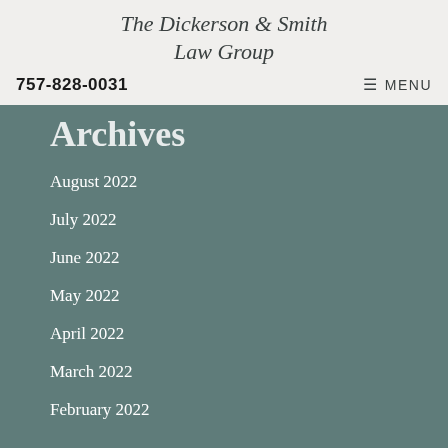The Dickerson & Smith Law Group
757-828-0031
MENU
Archives
August 2022
July 2022
June 2022
May 2022
April 2022
March 2022
February 2022